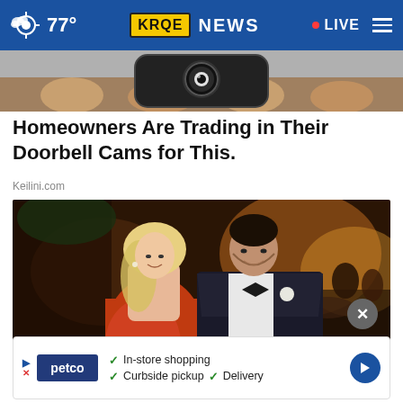77° KRQE NEWS • LIVE
[Figure (photo): Partial image of a doorbell camera device held in hand]
Homeowners Are Trading in Their Doorbell Cams for This.
Keilini.com
[Figure (photo): A couple dressed formally — woman in orange dress, man in black tuxedo with bow tie — posing at what appears to be a gala or wedding reception]
[Figure (screenshot): Petco advertisement banner showing: In-store shopping, Curbside pickup, Delivery checkmarks with Petco logo and navigation arrow]